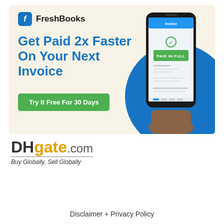[Figure (advertisement): FreshBooks advertisement banner with cream/beige background. Shows FreshBooks logo (blue F icon and wordmark), headline 'Get Paid 2x Faster On Your Next Invoice' in blue, a green CTA button 'Try It Free For 30 Days', a blue circle graphic, and a hand holding a smartphone displaying a 'PAID IN FULL' invoice screen.]
[Figure (logo): DHgate.com logo: 'DH' in dark gray bold, 'gate' in orange bold, '.com' in gray. Tagline below: 'Buy Globally, Sell Globally' with a horizontal rule above it.]
Disclaimer + Privacy Policy